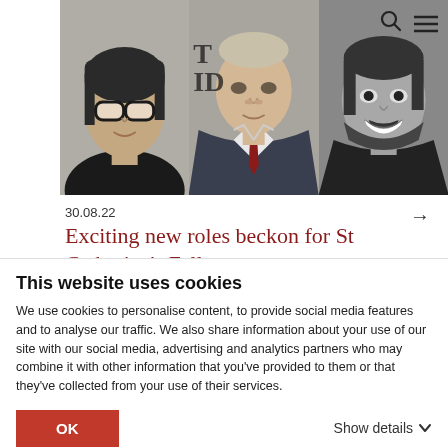[Figure (photo): Three portrait photos side by side: a woman with short dark hair and glasses on the left, a middle-aged man in a suit with a red tie in the center, and a young man with a beard smiling on the right (black and white).]
30.08.22
Exciting new roles beckon for St Catharine’s Fellows
This website uses cookies
We use cookies to personalise content, to provide social media features and to analyse our traffic. We also share information about your use of our site with our social media, advertising and analytics partners who may combine it with other information that you’ve provided to them or that they’ve collected from your use of their services.
OK
Show details